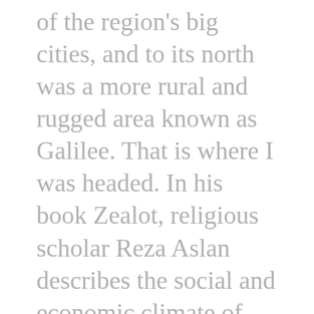of the region's big cities, and to its north was a more rural and rugged area known as Galilee. That is where I was headed. In his book Zealot, religious scholar Reza Aslan describes the social and economic climate of the times. The occupation of Palestine was brutal. Rome deployed tax collectors to